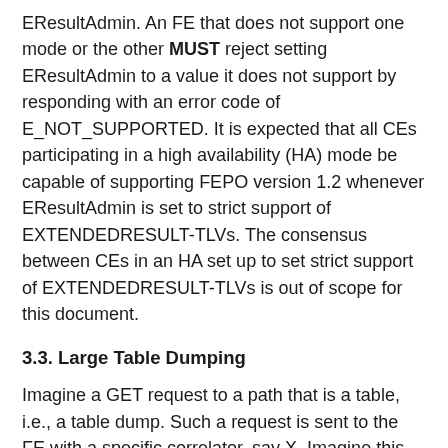EResultAdmin. An FE that does not support one mode or the other MUST reject setting EResultAdmin to a value it does not support by responding with an error code of E_NOT_SUPPORTED. It is expected that all CEs participating in a high availability (HA) mode be capable of supporting FEPO version 1.2 whenever EResultAdmin is set to strict support of EXTENDEDRESULT-TLVs. The consensus between CEs in an HA set up to set strict support of EXTENDEDRESULT-TLVs is out of scope for this document.
3.3. Large Table Dumping
Imagine a GET request to a path that is a table, i.e., a table dump. Such a request is sent to the FE with a specific correlator, say X. Imagine this table to have a large number of entries at the FE. For the sake of illustration, let's say millions of rows. This requires that the FE delivers the response over multiple messages, all using the same correlator X.
The ForCES protocol document [RFC5810] does not